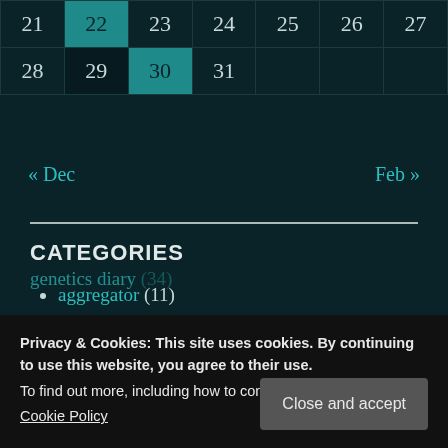| 21 | 22 | 23 | 24 | 25 | 26 | 27 |
| --- | --- | --- | --- | --- | --- | --- |
| 28 | 29 | 30 | 31 |  |  |  |
« Dec    Feb »
CATEGORIES
aggregator (11)
culture-and-politics (705)
Privacy & Cookies: This site uses cookies. By continuing to use this website, you agree to their use.
To find out more, including how to control cookies, see here:
Cookie Policy
Close and accept